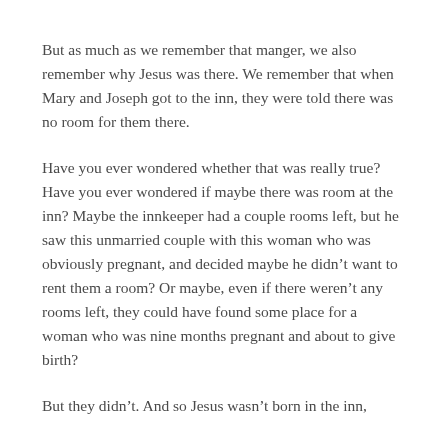But as much as we remember that manger, we also remember why Jesus was there. We remember that when Mary and Joseph got to the inn, they were told there was no room for them there.
Have you ever wondered whether that was really true? Have you ever wondered if maybe there was room at the inn? Maybe the innkeeper had a couple rooms left, but he saw this unmarried couple with this woman who was obviously pregnant, and decided maybe he didn't want to rent them a room? Or maybe, even if there weren't any rooms left, they could have found some place for a woman who was nine months pregnant and about to give birth?
But they didn't. And so Jesus wasn't born in the inn,